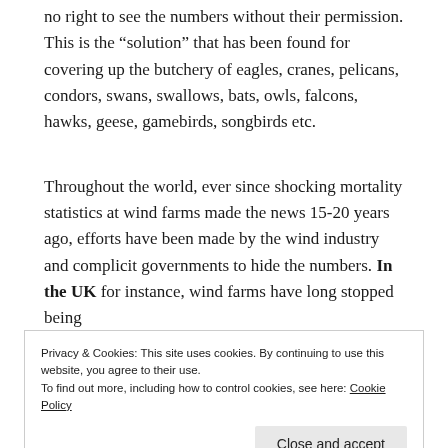no right to see the numbers without their permission. This is the “solution” that has been found for covering up the butchery of eagles, cranes, pelicans, condors, swans, swallows, bats, owls, falcons, hawks, geese, gamebirds, songbirds etc.
Throughout the world, ever since shocking mortality statistics at wind farms made the news 15-20 years ago, efforts have been made by the wind industry and complicit governments to hide the numbers. In the UK for instance, wind farms have long stopped being
Privacy & Cookies: This site uses cookies. By continuing to use this website, you agree to their use.
To find out more, including how to control cookies, see here: Cookie Policy
Close and accept
ornithology consultants based on their reputation for